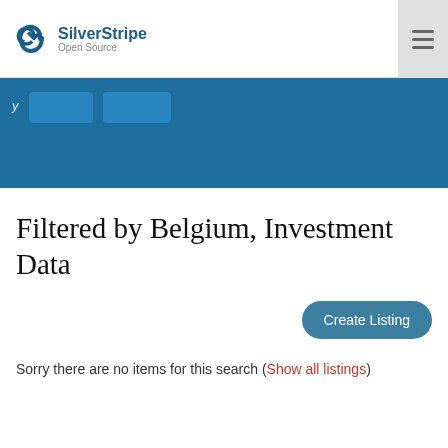SilverStripe Open Source
[Figure (logo): SilverStripe Open Source logo with circular arrow icon]
Filtered by Belgium, Investment Data
Create Listing
Sorry there are no items for this search (Show all listings)